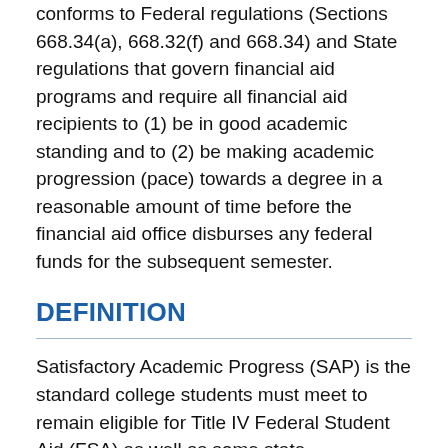conforms to Federal regulations (Sections 668.34(a), 668.32(f) and 668.34) and State regulations that govern financial aid programs and require all financial aid recipients to (1) be in good academic standing and to (2) be making academic progression (pace) towards a degree in a reasonable amount of time before the financial aid office disburses any federal funds for the subsequent semester.
DEFINITION
Satisfactory Academic Progress (SAP) is the standard college students must meet to remain eligible for Title IV Federal Student Aid (FSA) as well as some state, institutional, and private financial aid funds.  To remain eligible for federal financial aid money — grants, work-study funds, and student loans — college students must meet certain standards in the classroom. In financial aid speak, those standards are called satisfactory